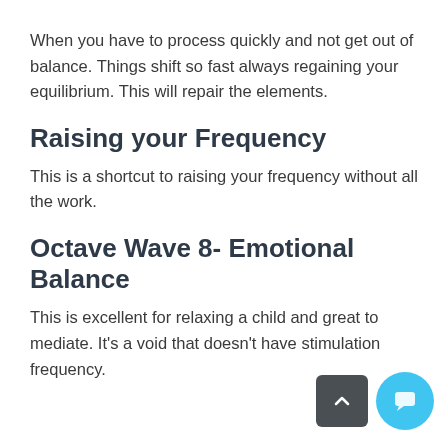When you have to process quickly and not get out of balance. Things shift so fast always regaining your equilibrium. This will repair the elements.
Raising your Frequency
This is a shortcut to raising your frequency without all the work.
Octave Wave 8- Emotional Balance
This is excellent for relaxing a child and great to mediate. It's a void that doesn't have stimulation frequency.